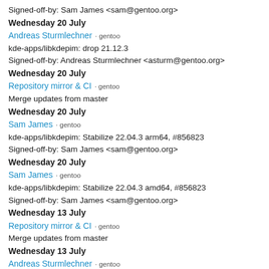Signed-off-by: Sam James <sam@gentoo.org>
Wednesday 20 July
Andreas Sturmlechner · gentoo
kde-apps/libkdepim: drop 21.12.3
Signed-off-by: Andreas Sturmlechner <asturm@gentoo.org>
Wednesday 20 July
Repository mirror & CI · gentoo
Merge updates from master
Wednesday 20 July
Sam James · gentoo
kde-apps/libkdepim: Stabilize 22.04.3 arm64, #856823
Signed-off-by: Sam James <sam@gentoo.org>
Wednesday 20 July
Sam James · gentoo
kde-apps/libkdepim: Stabilize 22.04.3 amd64, #856823
Signed-off-by: Sam James <sam@gentoo.org>
Wednesday 13 July
Repository mirror & CI · gentoo
Merge updates from master
Wednesday 13 July
Andreas Sturmlechner · gentoo
*/*: Switch KDE Gear 22.04.3 to gear.kde.org.eclass